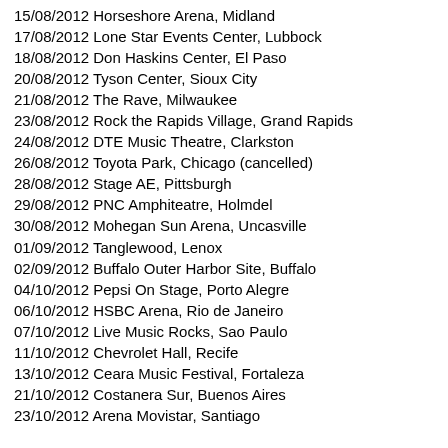15/08/2012 Horseshore Arena, Midland
17/08/2012 Lone Star Events Center, Lubbock
18/08/2012 Don Haskins Center, El Paso
20/08/2012 Tyson Center, Sioux City
21/08/2012 The Rave, Milwaukee
23/08/2012 Rock the Rapids Village, Grand Rapids
24/08/2012 DTE Music Theatre, Clarkston
26/08/2012 Toyota Park, Chicago (cancelled)
28/08/2012 Stage AE, Pittsburgh
29/08/2012 PNC Amphiteatre, Holmdel
30/08/2012 Mohegan Sun Arena, Uncasville
01/09/2012 Tanglewood, Lenox
02/09/2012 Buffalo Outer Harbor Site, Buffalo
04/10/2012 Pepsi On Stage, Porto Alegre
06/10/2012 HSBC Arena, Rio de Janeiro
07/10/2012 Live Music Rocks, Sao Paulo
11/10/2012 Chevrolet Hall, Recife
13/10/2012 Ceara Music Festival, Fortaleza
21/10/2012 Costanera Sur, Buenos Aires
23/10/2012 Arena Movistar, Santiago